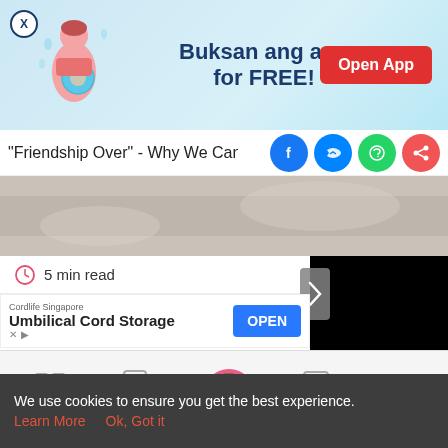[Figure (screenshot): App promotion banner with pregnant woman illustration, text 'Buksan ang app for FREE!' and red 'Open App' button]
"Friendship Over" - Why We Can't He
[Figure (photo): Hero image of woman lying down]
5 min read
[Figure (screenshot): Black video player panel with forward arrow]
[Figure (screenshot): Ad strip: Cordlife Singapore - Umbilical Cord Storage - OPEN button]
[Figure (screenshot): Bottom navigation bar with Tools, Articles, Home (pregnant woman icon), Feed, Poll]
We use cookies to ensure you get the best experience.
Learn More   Ok, Got it